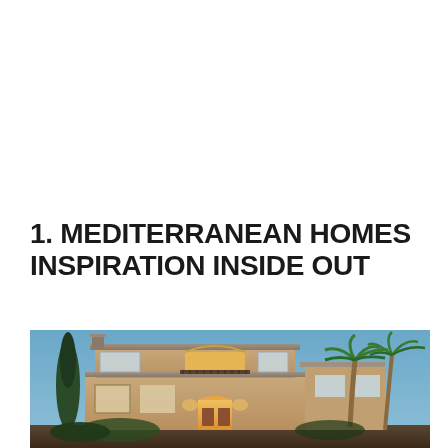1. MEDITERRANEAN HOMES INSPIRATION INSIDE OUT
[Figure (photo): Exterior photograph of a two-story Mediterranean-style home at dusk, featuring stucco facade in warm tan/beige tones, arched balcony with wrought-iron railing on second floor, illuminated entrance with warm lighting, palm trees on the right side, and a blue twilight sky in the background.]